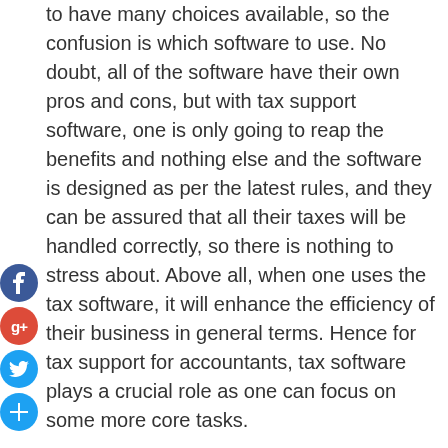to have many choices available, so the confusion is which software to use. No doubt, all of the software have their own pros and cons, but with tax support software, one is only going to reap the benefits and nothing else and the software is designed as per the latest rules, and they can be assured that all their taxes will be handled correctly, so there is nothing to stress about. Above all, when one uses the tax software, it will enhance the efficiency of their business in general terms. Hence for tax support for accountants, tax software plays a crucial role as one can focus on some more core tasks.

The best part about using the software at sydney cbd accounting services is that it offers automation, which will help them in minimizing their taxing formalities so their tax filing can be completed in no time. When they install this software, they can calculate their income